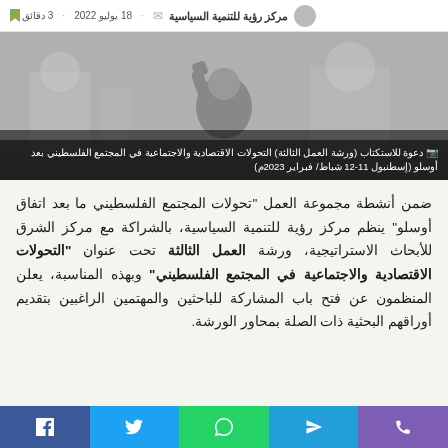مركز رؤية للتنمية السياسية · 18 يوليو 2022 · 3 دقائق
[Figure (photo): Grayscale hero image showing a person with raised fist in front of a background with buildings/mosque-like structures]
📷 دعوة للاستكتاب (ورشة العمل الثالثة) التحولات الاقتصادية والاجتماعية في المجتمع الفلسطيني بعد أوسلو (إسطنبول 11-12 شباط/ فبراير 2023م)
ضمن أنشطة مجموعة العمل "تحولات المجتمع الفلسطيني ما بعد اتفاق أوسلو" ينظم مركز رؤية للتنمية السياسية، بالشراكة مع مركز الشرق للأبحاث الاستراتيجية، ورشة العمل الثالثة تحت عنوان "التحولات الاقتصادية والاجتماعية في المجتمع الفلسطيني" وبهذه المناسبة، يعلن المنظمون عن فتح باب المشاركة للباحثين والمهتمين الراغبين بتقديم أوراقهم البحثية ذات الصلة بمحاور الورشة.
Phone | Telegram | WhatsApp | Twitter | Facebook